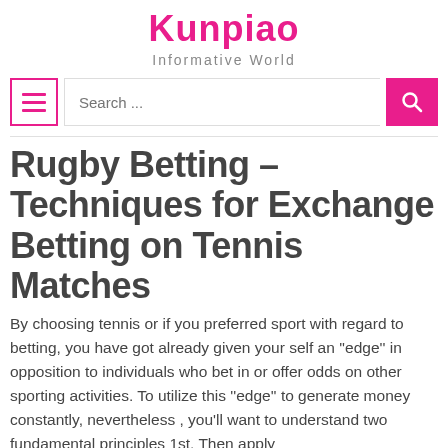Kunpiao
Informative World
Rugby Betting – Techniques for Exchange Betting on Tennis Matches
By choosing tennis or if you preferred sport with regard to betting, you have got already given your self an ''edge'' in opposition to individuals who bet in or offer odds on other sporting activities. To utilize this ''edge'' to generate money constantly, nevertheless , you'll want to understand two fundamental principles 1st. Then apply